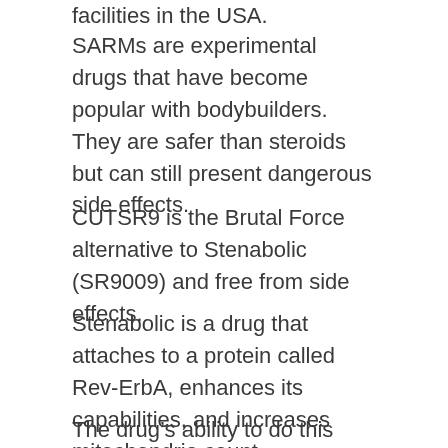facilities in the USA.
SARMs are experimental drugs that have become popular with bodybuilders. They are safer than steroids but can still present dangerous side effects.
CUTSR9 is the Brutal Force alternative to Stenabolic (SR9009) and free from side effects.
Stenabolic is a drug that attaches to a protein called Rev-ErbA, enhances its capabilities, and increases mitochondria count.
The drug’s ability to do this results in significant improvements in physical endurance. It also